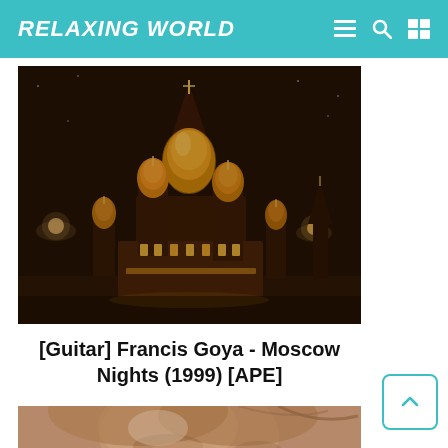RELAXING WORLD
[Figure (photo): Nighttime photo of Saint Basil's Cathedral in Moscow illuminated with warm golden lights against a dark sky]
[Guitar] Francis Goya - Moscow Nights (1999) [APE]
[Figure (photo): Close-up sepia-toned portrait photo of a person's face, soft focus]